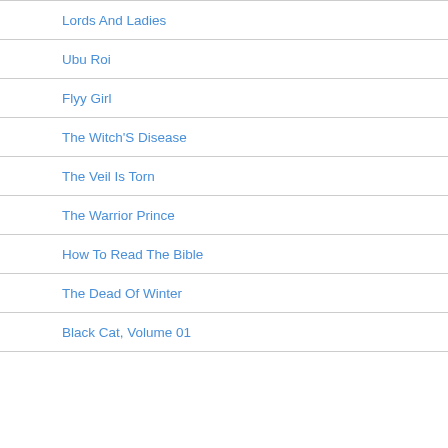Lords And Ladies
Ubu Roi
Flyy Girl
The Witch'S Disease
The Veil Is Torn
The Warrior Prince
How To Read The Bible
The Dead Of Winter
Black Cat, Volume 01